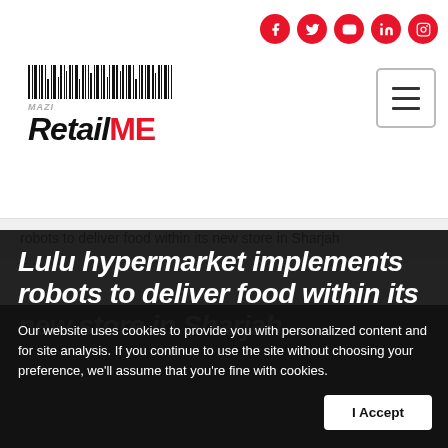RetailME - social icons and navigation
[Figure (logo): RetailME magazine logo with barcode graphic above text. 'Retail' in black bold italic, 'ME' in red bold. Small 'MAZI' tagline above.]
robots to deliver food within its new store in Sharjah
Lulu hypermarket implements robots to deliver food within its new store in Sharjah
Our website uses cookies to provide you with personalized content and for site analysis. If you continue to use the site without choosing your preference, we'll assume that you're fine with cookies.
I Accept